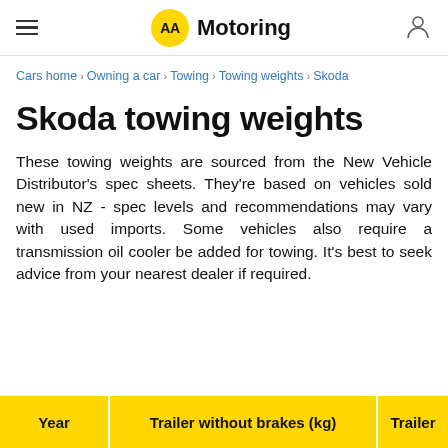AA Motoring
Cars home › Owning a car › Towing › Towing weights › Skoda
Skoda towing weights
These towing weights are sourced from the New Vehicle Distributor's spec sheets. They're based on vehicles sold new in NZ - spec levels and recommendations may vary with used imports. Some vehicles also require a transmission oil cooler be added for towing. It's best to seek advice from your nearest dealer if required.
| Year | Trailer without brakes (kg) | Trailer |
| --- | --- | --- |